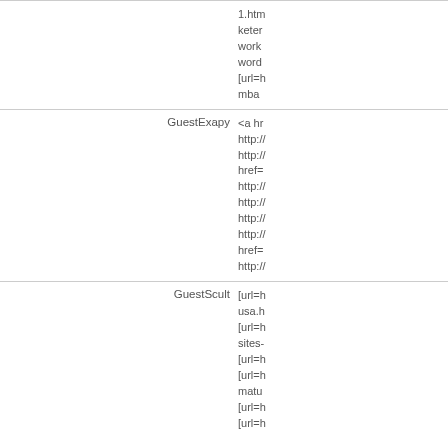|  | username | post content |
| --- | --- | --- |
|  |  | 1.htm keter work word [url=h mba |
|  | GuestExapy | <a hr http:// http:// href= http:// http:// http:// http:// href= http:// |
|  | GuestScult | [url=h usa.h [url=h sites- [url=h [url=h matu [url=h [url=h |